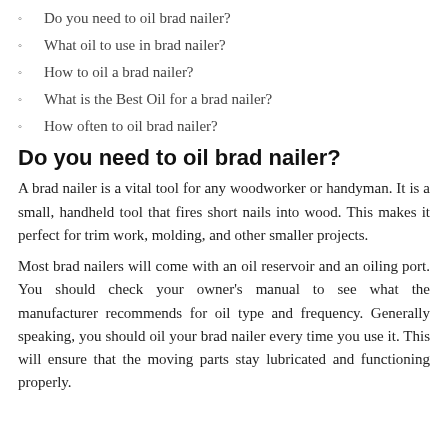Do you need to oil brad nailer?
What oil to use in brad nailer?
How to oil a brad nailer?
What is the Best Oil for a brad nailer?
How often to oil brad nailer?
Do you need to oil brad nailer?
A brad nailer is a vital tool for any woodworker or handyman. It is a small, handheld tool that fires short nails into wood. This makes it perfect for trim work, molding, and other smaller projects.
Most brad nailers will come with an oil reservoir and an oiling port. You should check your owner's manual to see what the manufacturer recommends for oil type and frequency. Generally speaking, you should oil your brad nailer every time you use it. This will ensure that the moving parts stay lubricated and functioning properly.